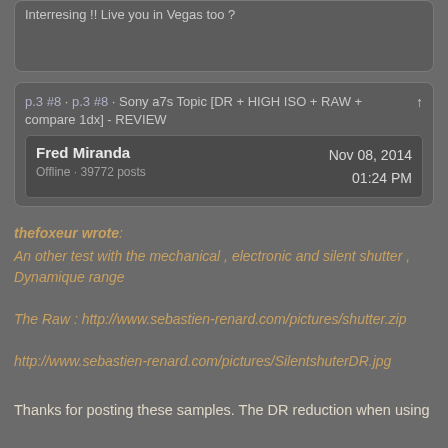Interresing !! Live you in Vegas too ?
p.3 #8 · p.3 #8 · Sony a7s Topic [DR + HIGH ISO + RAW + compare 1dx] - REVIEW ↑
Fred Miranda   Nov 08, 2014   01:24 PM   Offline · 39772 posts
thefoxeur wrote: An other test with the mechanical , electronic and silent shutter , Dynamique range

The Raw : http://www.sebastien-renard.com/pictures/shutter.zip

http://www.sebastien-renard.com/pictures/SilentshuterDR.jpg
Thanks for posting these samples. The DR reduction when using